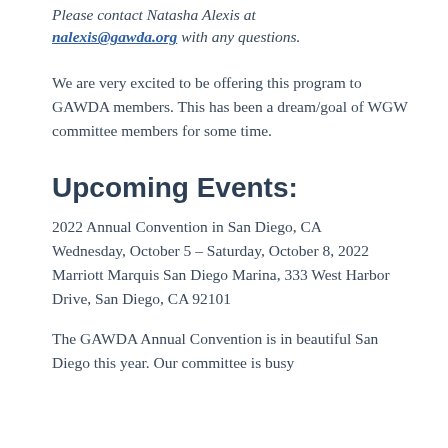Please contact Natasha Alexis at nalexis@gawda.org with any questions.
We are very excited to be offering this program to GAWDA members. This has been a dream/goal of WGW committee members for some time.
Upcoming Events:
2022 Annual Convention in San Diego, CA
Wednesday, October 5 – Saturday, October 8, 2022
Marriott Marquis San Diego Marina, 333 West Harbor Drive, San Diego, CA 92101
The GAWDA Annual Convention is in beautiful San Diego this year. Our committee is busy